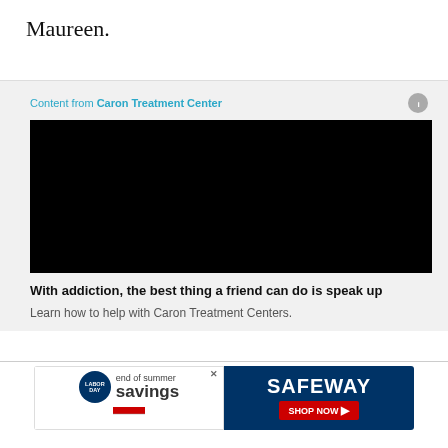Maureen.
Content from Caron Treatment Center
[Figure (other): Black video player placeholder for Caron Treatment Center sponsored content]
With addiction, the best thing a friend can do is speak up
Learn how to help with Caron Treatment Centers.
[Figure (other): Safeway Labor Day 'end of summer savings' advertisement banner with Shop Now button]